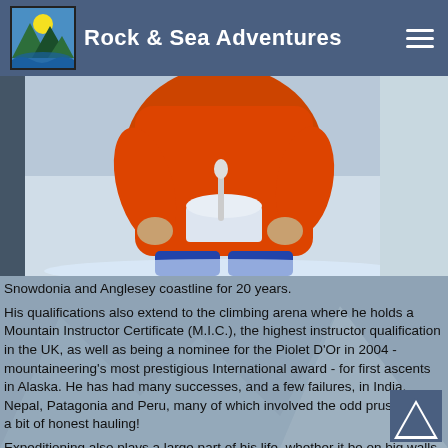Rock & Sea Adventures
[Figure (photo): Person in orange jacket sitting in snow, holding a white bowl/mug with a spoon, wearing blue trousers, snowy mountaineering scene]
Snowdonia and Anglesey coastline for 20 years.
His qualifications also extend to the climbing arena where he holds a Mountain Instructor Certificate (M.I.C.), the highest instructor qualification in the UK, as well as being a nominee for the Piolet D'Or in 2004 - mountaineering's most prestigious International award - for first ascents in Alaska. He has had many successes, and a few failures, in India, Nepal, Patagonia and Peru, many of which involved the odd prussik and a bit of honest hauling!
Expeditioning also plays a large part of his life, whether it be on big walls or big mountains.
12 years as a Senior Instructor at Plas y Brenin and owner of Ro...